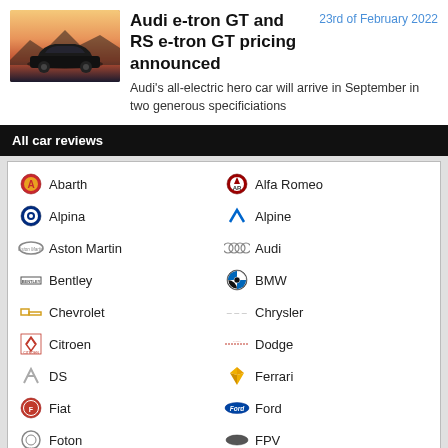[Figure (photo): Audi e-tron GT car photo with gradient sky background]
Audi e-tron GT and RS e-tron GT pricing announced
23rd of February 2022
Audi's all-electric hero car will arrive in September in two generous specificiations
All car reviews
Abarth
Alfa Romeo
Alpina
Alpine
Aston Martin
Audi
Bentley
BMW
Chevrolet
Chrysler
Citroen
Dodge
DS
Ferrari
Fiat
Ford
Foton
FPV
Great Wall
Haval